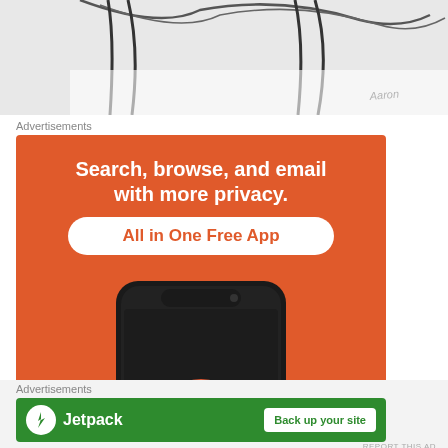[Figure (illustration): Partial sketch/cartoon image in grayscale with signature 'Aaron' at bottom right]
Advertisements
[Figure (screenshot): DuckDuckGo advertisement on orange background. Text: 'Search, browse, and email with more privacy. All in One Free App'. Shows a smartphone with DuckDuckGo logo and DuckDuckGo. text on screen.]
REPORT THIS AD
Advertisements
[Figure (screenshot): Jetpack advertisement on green background. Shows Jetpack logo with lightning bolt icon and text 'Jetpack' alongside a white button 'Back up your site']
REPORT THIS AD